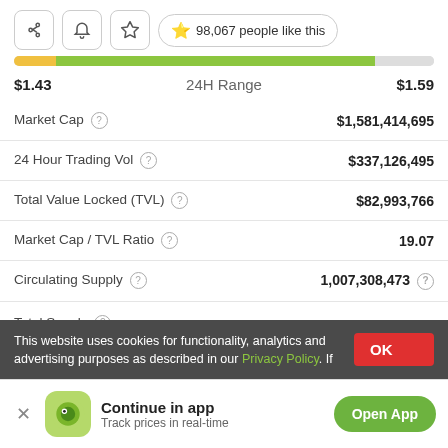[Figure (screenshot): Three icon buttons (share, bell, star) and a likes badge showing 98,067 people like this]
[Figure (infographic): Horizontal range bar showing 24H price range, yellow-green gradient from $1.43 to $1.59]
$1.43   24H Range   $1.59
| Metric | Value |
| --- | --- |
| Market Cap | $1,581,414,695 |
| 24 Hour Trading Vol | $337,126,495 |
| Total Value Locked (TVL) | $82,993,766 |
| Market Cap / TVL Ratio | 19.07 |
| Circulating Supply | 1,007,308,473 |
| Total Supply | ∞ |
This website uses cookies for functionality, analytics and advertising purposes as described in our Privacy Policy. If
Continue in app
Track prices in real-time